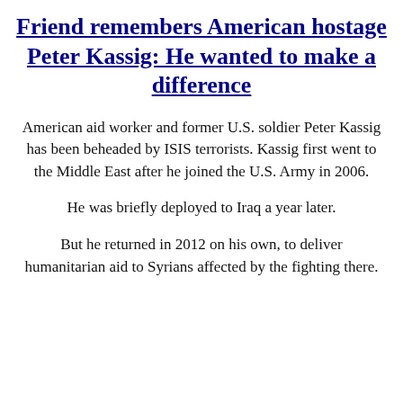Friend remembers American hostage Peter Kassig: He wanted to make a difference
American aid worker and former U.S. soldier Peter Kassig has been beheaded by ISIS terrorists. Kassig first went to the Middle East after he joined the U.S. Army in 2006.
He was briefly deployed to Iraq a year later.
But he returned in 2012 on his own, to deliver humanitarian aid to Syrians affected by the fighting there.